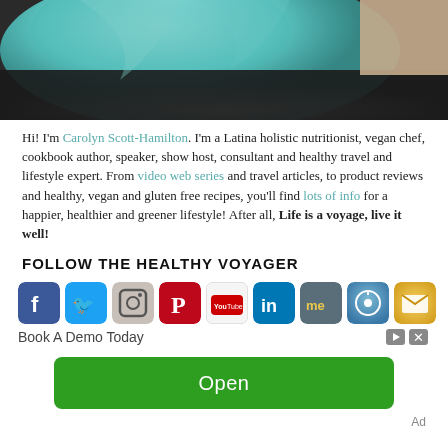[Figure (photo): Photo of a person wearing teal/turquoise fabric or clothing, with a beige wall/surface in the background, cropped at the top]
Hi! I'm Carolyn Scott-Hamilton. I'm a Latina holistic nutritionist, vegan chef, cookbook author, speaker, show host, consultant and healthy travel and lifestyle expert. From video web series and travel articles, to product reviews and healthy, vegan and gluten free recipes, you'll find lots of info for a happier, healthier and greener lifestyle! After all, Life is a voyage, live it well!
FOLLOW THE HEALTHY VOYAGER
[Figure (infographic): Row of social media icons: Facebook, Twitter, Instagram, Pinterest, YouTube, LinkedIn, About.me, iTunes/Music, Email]
Book A Demo Today
[Figure (other): Green Open button advertisement with 'Open' text]
Ad